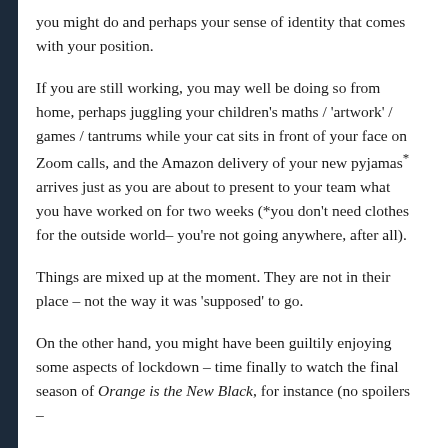you might do and perhaps your sense of identity that comes with your position.
If you are still working, you may well be doing so from home, perhaps juggling your children's maths / 'artwork' / games / tantrums while your cat sits in front of your face on Zoom calls, and the Amazon delivery of your new pyjamas*  arrives just as you are about to present to your team what you have worked on for two weeks (*you don't need clothes for the outside world– you're not going anywhere, after all).
Things are mixed up at the moment. They are not in their place – not the way it was 'supposed' to go.
On the other hand, you might have been guiltily enjoying some aspects of lockdown – time finally to watch the final season of Orange is the New Black, for instance (no spoilers –